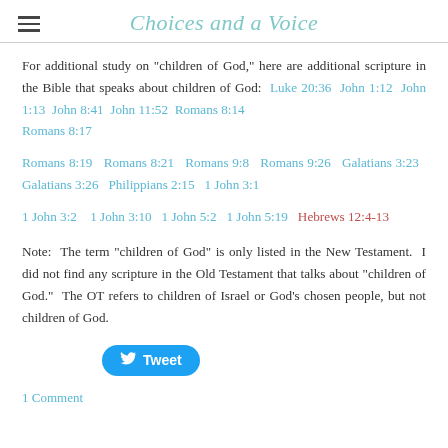Choices and a Voice
For additional study on "children of God," here are additional scripture in the Bible that speaks about children of God:  Luke 20:36  John 1:12  John 1:13  John 8:41  John 11:52  Romans 8:14  Romans 8:17
Romans 8:19   Romans 8:21   Romans 9:8   Romans 9:26   Galatians 3:23   Galatians 3:26   Philippians 2:15   1 John 3:1
1 John 3:2   1 John 3:10   1 John 5:2   1 John 5:19   Hebrews 12:4-13
Note:  The term "children of God" is only listed in the New Testament.  I did not find any scripture in the Old Testament that talks about "children of God."  The OT refers to children of Israel or God's chosen people, but not children of God.
Tweet
1 Comment